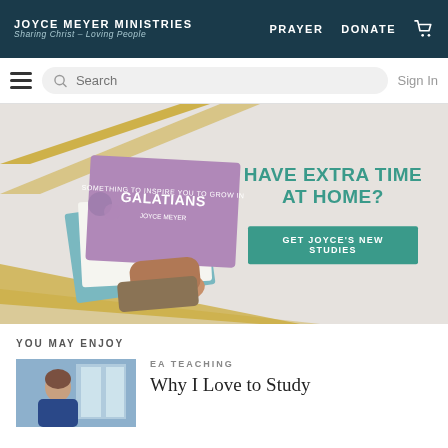JOYCE MEYER MINISTRIES — Sharing Christ – Loving People | PRAYER  DONATE
Search  Sign In
[Figure (photo): Banner image showing hand holding a Galatians study book by Joyce Meyer with diagonal gold stripes on light background, text 'HAVE EXTRA TIME AT HOME?' and green button 'GET JOYCE'S NEW STUDIES']
YOU MAY ENJOY
EA TEACHING
Why I Love to Study